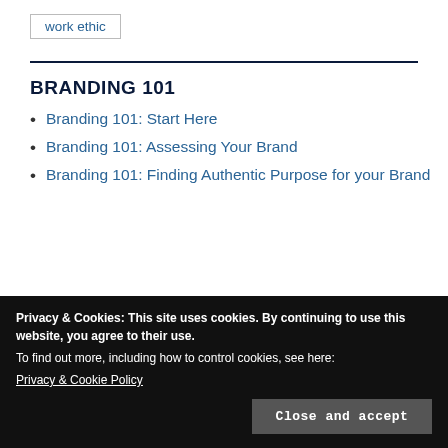work ethic
BRANDING 101
Branding 101: Start Here
Branding 101: Assessing Your Brand
Branding 101: Finding Authentic Purpose for your Brand
Privacy & Cookies: This site uses cookies. By continuing to use this website, you agree to their use.
To find out more, including how to control cookies, see here:
Privacy & Cookie Policy
Branding 101: Brand Values